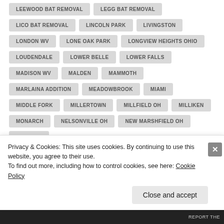LEEWOOD BAT REMOVAL
LEGG BAT REMOVAL
LICO BAT REMOVAL
LINCOLN PARK
LIVINGSTON
LONDON WV
LONE OAK PARK
LONGVIEW HEIGHTS OHIO
LOUDENDALE
LOWER BELLE
LOWER FALLS
MADISON WV
MALDEN
MAMMOTH
MARLAINA ADDITION
MEADOWBROOK
MIAMI
MIDDLE FORK
MILLERTOWN
MILLFIELD OH
MILLIKEN
MONARCH
NELSONVILLE OH
NEW MARSHFIELD OH
NUCKOLS
Privacy & Cookies: This site uses cookies. By continuing to use this website, you agree to their use. To find out more, including how to control cookies, see here: Cookie Policy
Close and accept